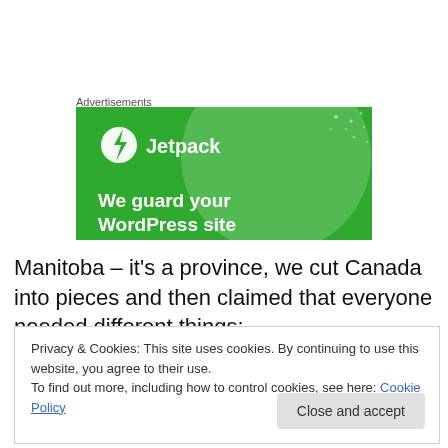Advertisements
[Figure (screenshot): Jetpack advertisement banner with green background showing logo and text 'We guard your WordPress site']
Manitoba – it's a province, we cut Canada into pieces and then claimed that everyone needed different things;
Privacy & Cookies: This site uses cookies. By continuing to use this website, you agree to their use.
To find out more, including how to control cookies, see here: Cookie Policy

Close and accept